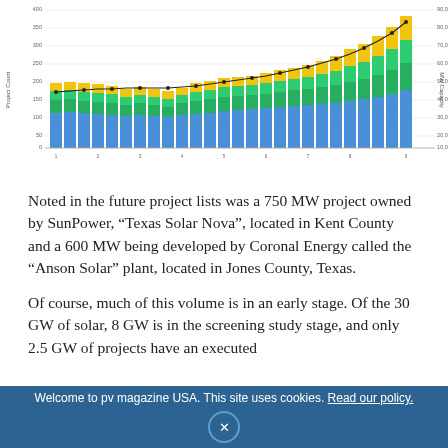[Figure (stacked-bar-chart): Stacked bar chart showing solar project counts (Project Count) by year/period with stacked segments in blue, green, teal/dark-green, and yellow, plus a line chart overlay on the right axis showing MW Capacity. Bars increase in height over time.]
Noted in the future project lists was a 750 MW project owned by SunPower, “Texas Solar Nova”, located in Kent County and a 600 MW being developed by Coronal Energy called the “Anson Solar” plant, located in Jones County, Texas.
Of course, much of this volume is in an early stage. Of the 30 GW of solar, 8 GW is in the screening study stage, and only 2.5 GW of projects have an executed
Welcome to pv magazine USA. This site uses cookies. Read our policy.